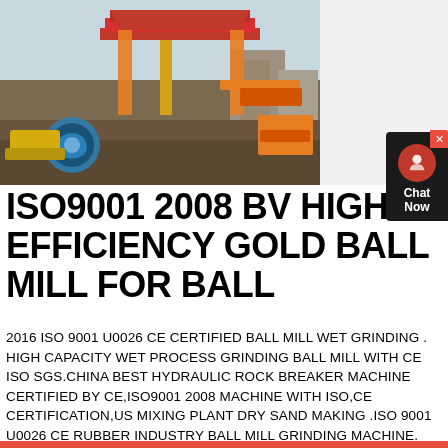[Figure (photo): Industrial construction site with heavy mining/crushing machinery including a large red elevated structure and orange conveyor equipment, photographed outdoors on a grey day.]
ISO9001 2008 BV HIGH EFFICIENCY GOLD BALL MILL FOR BALL
2016 ISO 9001 U0026 CE CERTIFIED BALL MILL WET GRINDING . HIGH CAPACITY WET PROCESS GRINDING BALL MILL WITH CE ISO SGS.CHINA BEST HYDRAULIC ROCK BREAKER MACHINE CERTIFIED BY CE,ISO9001 2008 MACHINE WITH ISO,CE CERTIFICATION,US MIXING PLANT DRY SAND MAKING .ISO 9001 U0026 CE RUBBER INDUSTRY BALL MILL GRINDING MACHINE. ISO 9001, CE.